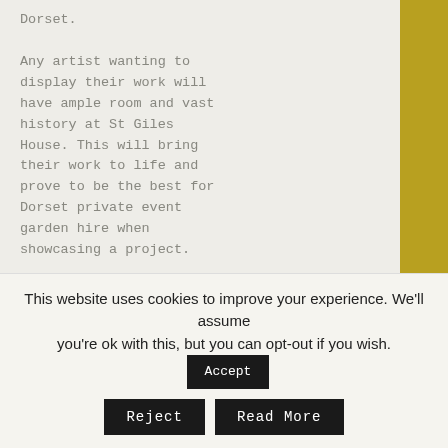Dorset.

Any artist wanting to display their work will have ample room and vast history at St Giles House. This will bring their work to life and prove to be the best for Dorset private event garden hire when showcasing a project.

Anniversary and Birthday parties are something to be remembering for a lifetime. We make every big occasion your own and
MAKE AN ENQUIRY
This website uses cookies to improve your experience. We'll assume you're ok with this, but you can opt-out if you wish.
Accept
Reject
Read More